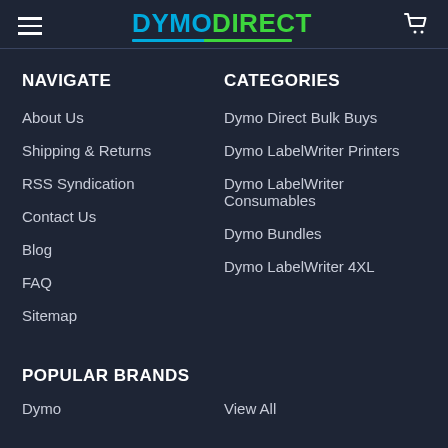DYMODIRECT
NAVIGATE
About Us
Shipping & Returns
RSS Syndication
Contact Us
Blog
FAQ
Sitemap
CATEGORIES
Dymo Direct Bulk Buys
Dymo LabelWriter Printers
Dymo LabelWriter Consumables
Dymo Bundles
Dymo LabelWriter 4XL
POPULAR BRANDS
Dymo
View All